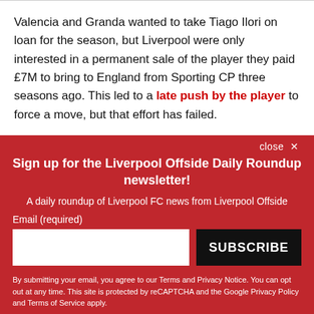Valencia and Granda wanted to take Tiago Ilori on loan for the season, but Liverpool were only interested in a permanent sale of the player they paid £7M to bring to England from Sporting CP three seasons ago. This led to a late push by the player to force a move, but that effort has failed.
Sign up for the Liverpool Offside Daily Roundup newsletter!
A daily roundup of Liverpool FC news from Liverpool Offside
Email (required)
SUBSCRIBE
By submitting your email, you agree to our Terms and Privacy Notice. You can opt out at any time. This site is protected by reCAPTCHA and the Google Privacy Policy and Terms of Service apply.